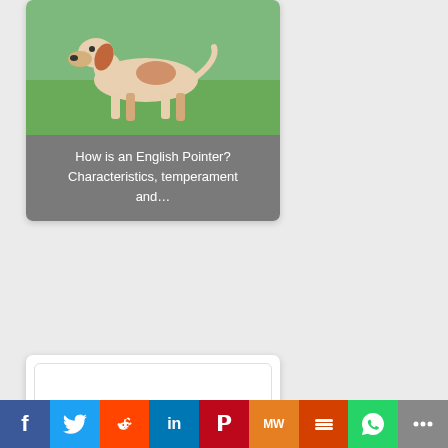[Figure (photo): Card showing an English Pointer dog standing on grass, with a grey caption overlay reading 'How is an English Pointer? Characteristics, temperament and…']
How is an English Pointer? Characteristics, temperament and…
[Figure (photo): Card showing a black and white English Cocker Spaniel dog seated on white background, with a grey caption box below reading 'Differences between English Cocker Spaniel and American…']
Differences between English Cocker Spaniel and American…
[Figure (photo): Partial view of a third card at the bottom with a textured/spotted background peeking up from the bottom of the page.]
Social share bar: Facebook, Twitter, Reddit, LinkedIn, Pinterest, MeWe, Mix, WhatsApp, More